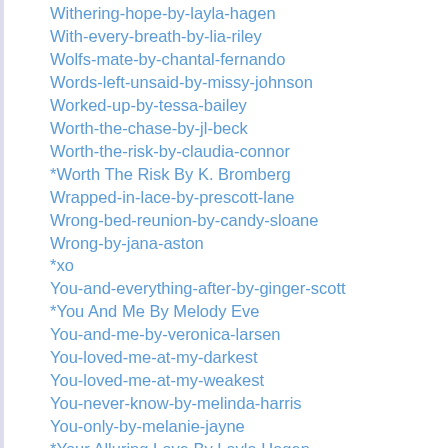Withering-hope-by-layla-hagen
With-every-breath-by-lia-riley
Wolfs-mate-by-chantal-fernando
Words-left-unsaid-by-missy-johnson
Worked-up-by-tessa-bailey
Worth-the-chase-by-jl-beck
Worth-the-risk-by-claudia-connor
*Worth The Risk By K. Bromberg
Wrapped-in-lace-by-prescott-lane
Wrong-bed-reunion-by-candy-sloane
Wrong-by-jana-aston
*xo
You-and-everything-after-by-ginger-scott
*You And Me By Melody Eve
You-and-me-by-veronica-larsen
You-loved-me-at-my-darkest
You-loved-me-at-my-weakest
You-never-know-by-melinda-harris
You-only-by-melanie-jayne
*Your Alluring Love By Layla Hagen
Your-captivating-love-by-layla-hagen
Youre-still-the-one-by-rachel-harris